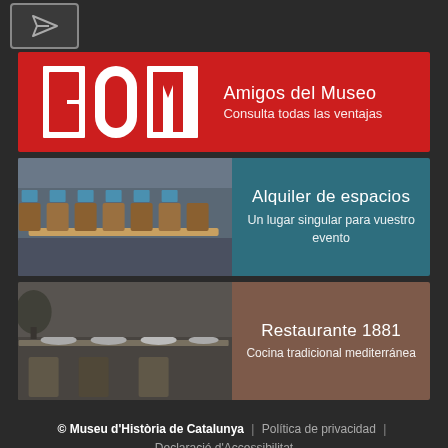[Figure (logo): Navigation/send icon button in top bar]
[Figure (infographic): Red banner with SOM logo and 'Amigos del Museo / Consulta todas las ventajas' text]
Amigos del Museo
Consulta todas las ventajas
[Figure (photo): Conference room with wooden chairs and monitors, teal panel with Alquiler de espacios text]
Alquiler de espacios
Un lugar singular para vuestro evento
[Figure (photo): Restaurant dining table setup, brown panel with Restaurante 1881 text]
Restaurante 1881
Cocina tradicional mediterránea
© Museu d'Història de Catalunya | Política de privacidad | Declaració d'Accessibilitat